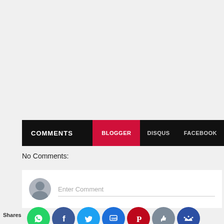COMMENTS | BLOGGER | DISQUS | FACEBOOK
No Comments:
[Figure (screenshot): Comment input box with avatar placeholder and Enter Comment placeholder text]
Shares
[Figure (infographic): Social share buttons row: WhatsApp, Facebook, Twitter, SMS, Pinterest, Like, Crown]